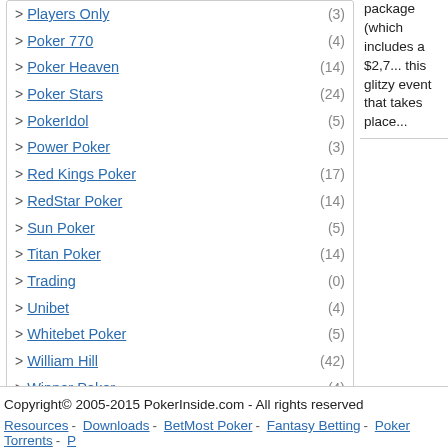> Players Only (3)
> Poker 770 (4)
> Poker Heaven (14)
> Poker Stars (24)
> PokerIdol (5)
> Power Poker (3)
> Red Kings Poker (17)
> RedStar Poker (14)
> Sun Poker (5)
> Titan Poker (14)
> Trading (0)
> Unibet (4)
> Whitebet Poker (5)
> William Hill (42)
> Winner Poker (4)
Uncategorized (0)
package (which includes a $2,7... this glitzy event that takes place...
Copyright© 2005-2015 PokerInside.com - All rights reserved
Resources - Downloads - BetMost Poker - Fantasy Betting - Poker Torrents - P